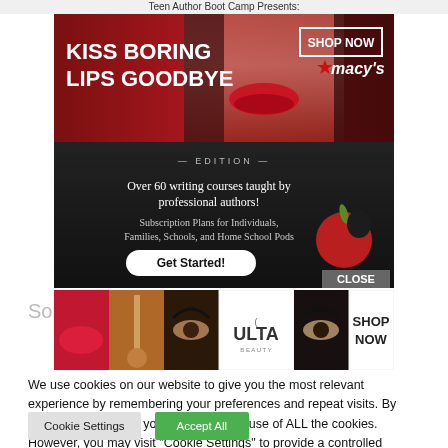Teen Author Boot Camp Presents:
[Figure (screenshot): Macy's ad banner: 'KISS BORING LIPS GOODBYE' with woman's red lips photo, SHOP NOW button, Macy's star logo]
[Figure (screenshot): Teen Author Boot Camp ad on dark chalkboard background: 'Over 60 writing courses taught by professional authors! Subscription Plans for Individuals, Families, Schools, and Home School Pods' with Get Started button, apple graphic, CLOSE button]
[Figure (screenshot): ULTA Beauty ad banner with makeup photos (lips, makeup brush, eye, ULTA logo, eye) and SHOP NOW button]
Som
We use cookies on our website to give you the most relevant experience by remembering your preferences and repeat visits. By clicking "Accept All", you consent to the use of ALL the cookies. However, you may visit "Cookie Settings" to provide a controlled consent.
Cookie Settings
Accept All